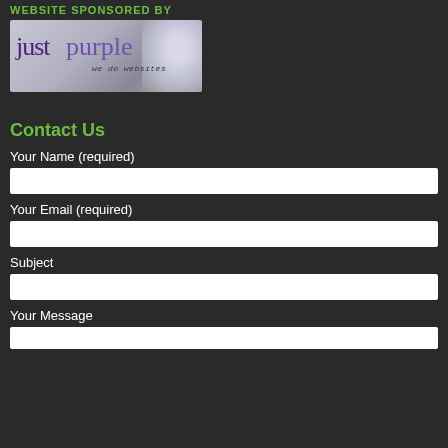WEBSITE SPONSORED BY
[Figure (illustration): justpurple we do websites banner logo with purple text and eye/lens graphic]
Contact Us
Your Name (required)
Your Email (required)
Subject
Your Message